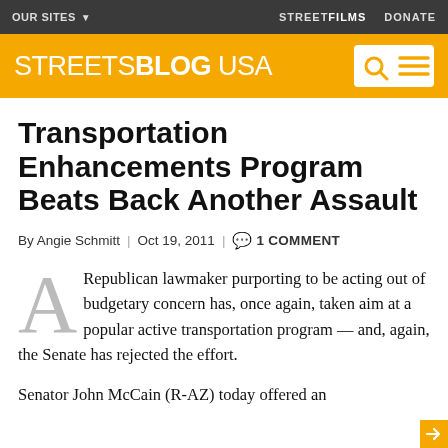OUR SITES ▼ | STREETFILMS DONATE
[Figure (logo): STREETSBLOG USA logo on yellow background with search and menu icons]
Transportation Enhancements Program Beats Back Another Assault
By Angie Schmitt | Oct 19, 2011 | 1 COMMENT
A Republican lawmaker purporting to be acting out of budgetary concern has, once again, taken aim at a popular active transportation program — and, again, the Senate has rejected the effort.
Senator John McCain (R-AZ) today offered an